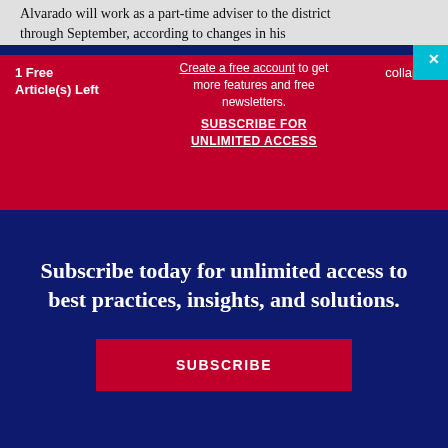Alvarado will work as a part-time adviser to the district through September, according to changes in his contract approved by the school board
1 Free Article(s) Left
Create a free account to get more features and free newsletters. SUBSCRIBE FOR UNLIMITED ACCESS
collapse
Subscribe today for unlimited access to best practices, insights, and solutions.
SUBSCRIBE